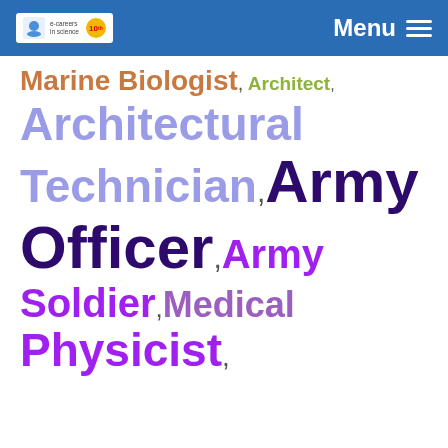Menu
Marine Biologist, Architect, Architectural Technician, Army Officer, Army Soldier, Medical Physicist,